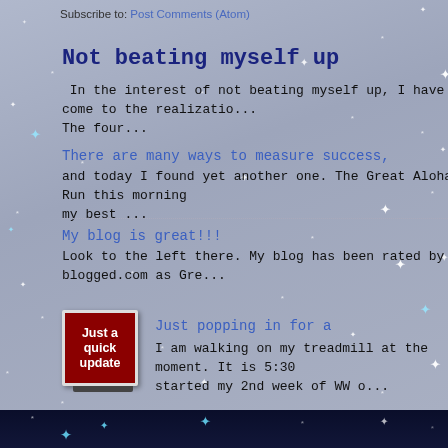Subscribe to: Post Comments (Atom)
Not beating myself up
In the interest of not beating myself up, I have come to the realizatio... The four...
There are many ways to measure success,
and today I found yet another one. The Great Aloha Run this morning my best ...
My blog is great!!!
Look to the left there. My blog has been rated by blogged.com as Gre...
[Figure (illustration): Thumbnail image of a dark red chalkboard sign with white text reading 'Just a quick update']
Just popping in for a
I am walking on my treadmill at the moment. It is 5:30... started my 2nd week of WW o...